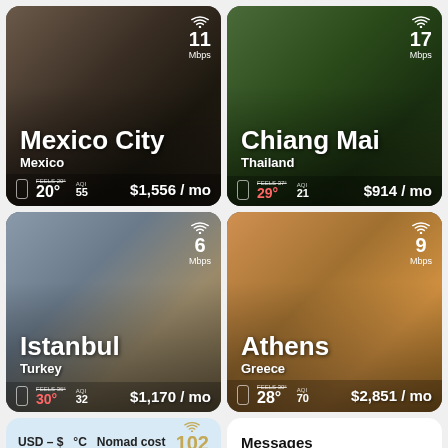[Figure (infographic): Mexico City, Mexico travel card. WiFi: 11 Mbps. Temperature: 20°, feels 20°, AQI 55. Cost: $1,556/mo]
[Figure (infographic): Chiang Mai, Thailand travel card. WiFi: 17 Mbps. Temperature: 29°, feels 37°, AQI 21. Cost: $914/mo]
[Figure (infographic): Istanbul, Turkey travel card. WiFi: 6 Mbps. Temperature: 30°, feels 36°, AQI 32. Cost: $1,170/mo]
[Figure (infographic): Athens, Greece travel card. WiFi: 9 Mbps. Temperature: 28°, feels 30°, AQI 70. Cost: $2,851/mo]
USD – $  °C  Nomad cost  102 Mbps
Messages